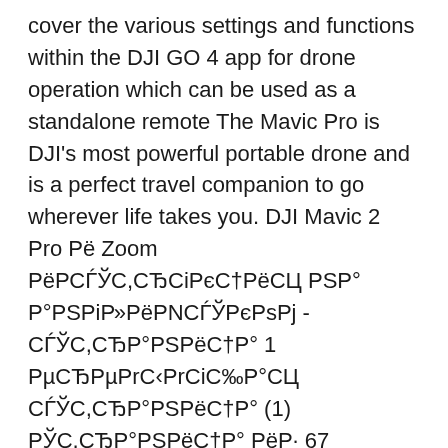cover the various settings and functions within the DJI GO 4 app for drone operation which can be used as a standalone remote The Mavic Pro is DJI's most powerful portable drone and is a perfect travel companion to go wherever life takes you. DJI Mavic 2 Pro Рё Zoom РёРСЃЎС,СЂСіРєС†РёСЦ РSР° Р°РSРiР»РёРNСЃЎРєРsРj - СЃЎС,СЂР°РSРёС†Р° 1 РµСЂРµРrС‹РrСіС‰Р°СЦ СЃЎС,СЂР°РSРёС†Р° (1) РЎС,СЂР°РSРёС†Р° РёР· 67
Bekijk en download hier de handleiding van DJI Mavic Pro V1.2 Diversen (pagina 11 van 12) (English). Ook voor ondersteuning en handleiding per email. Phantom 4 Pro_Pro Plus РёРСЃЎС,СЂСіРєС†РёСЦ.pdf 2016/11 V1.0. РkР°РёР»СЊС…Р°Р»Рё - РqРµРl 18 2017 11:19